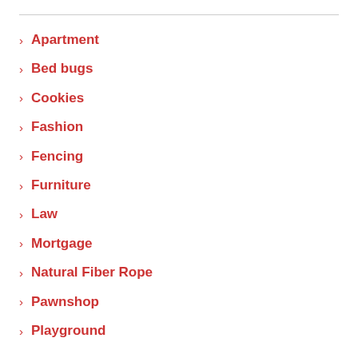Apartment
Bed bugs
Cookies
Fashion
Fencing
Furniture
Law
Mortgage
Natural Fiber Rope
Pawnshop
Playground